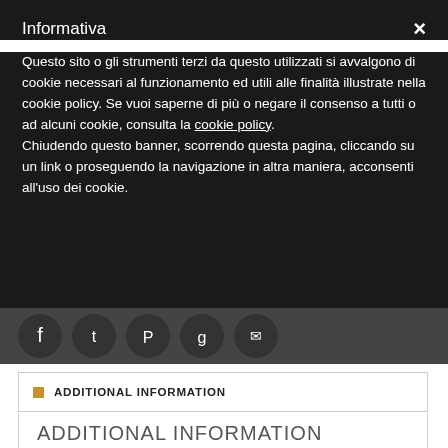Informativa
Questo sito o gli strumenti terzi da questo utilizzati si avvalgono di cookie necessari al funzionamento ed utili alle finalità illustrate nella cookie policy. Se vuoi saperne di più o negare il consenso a tutti o ad alcuni cookie, consulta la cookie policy.
Chiudendo questo banner, scorrendo questa pagina, cliccando su un link o proseguendo la navigazione in altra maniera, acconsenti all'uso dei cookie.
[Figure (illustration): Row of five circular social media sharing icons (Facebook, Twitter, Pinterest, Google+, Email) on a dark/grey background]
ADDITIONAL INFORMATION
| Peso |  |
| --- | --- |
| Peso | 0.100 kg |